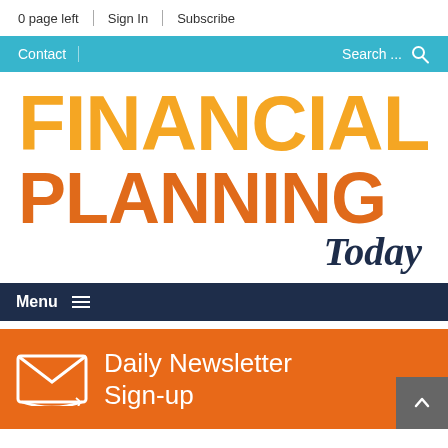0 page left | Sign In | Subscribe
Contact | Search ...
FINANCIAL PLANNING Today
Menu ☰
Daily Newsletter Sign-up